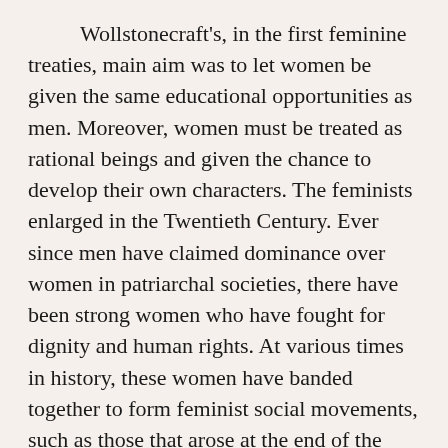Wollstonecraft's, in the first feminine treaties, main aim was to let women be given the same educational opportunities as men. Moreover, women must be treated as rational beings and given the chance to develop their own characters. The feminists enlarged in the Twentieth Century. Ever since men have claimed dominance over women in patriarchal societies, there have been strong women who have fought for dignity and human rights. At various times in history, these women have banded together to form feminist social movements, such as those that arose at the end of the eighteenth and nineteenth centuries and during the 1920s and 1940s. that happened especially after World War II were no more than revolution in civilised aspects and technology while the social state of mind or ideology did not